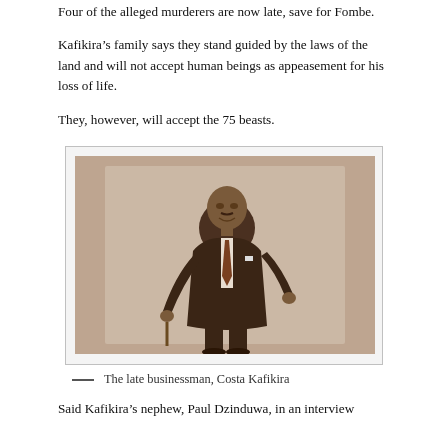Four of the alleged murderers are now late, save for Fombe.
Kafikira’s family says they stand guided by the laws of the land and will not accept human beings as appeasement for his loss of life.
They, however, will accept the 75 beasts.
[Figure (photo): Black and white / sepia photograph of a man in a dark suit and tie, standing and leaning slightly, with one hand resting on a cane or pole. Background appears to be a studio backdrop.]
—   The late businessman, Costa Kafikira
Said Kafikira’s nephew, Paul Dzinduwa, in an interview